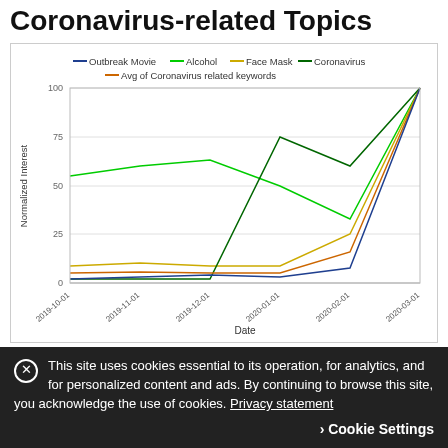Coronavirus-related Topics
[Figure (line-chart): ]
Figure 1. Trend of users searching coronavirus-related keywords
This site uses cookies essential to its operation, for analytics, and for personalized content and ads. By continuing to browse this site, you acknowledge the use of cookies. Privacy statement
Cookie Settings